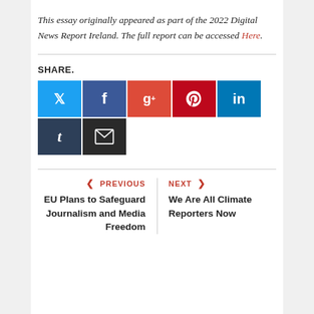This essay originally appeared as part of the 2022 Digital News Report Ireland. The full report can be accessed Here.
SHARE.
[Figure (other): Social share buttons: Twitter (blue), Facebook (dark blue), Google+ (red-orange), Pinterest (red), LinkedIn (blue), Tumblr (dark navy), Email (dark grey)]
< PREVIOUS
EU Plans to Safeguard Journalism and Media Freedom
NEXT >
We Are All Climate Reporters Now